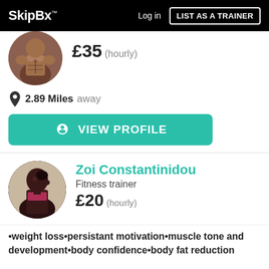SkipBx  Log in  LIST AS A TRAINER
£35 (hourly)
2.89 Miles away
VIEW PROFILE
Zoi Constantinidou
Fitness trainer
£20 (hourly)
•weight loss•persistant motivation•muscle tone and development•body confidence•body fat reduction